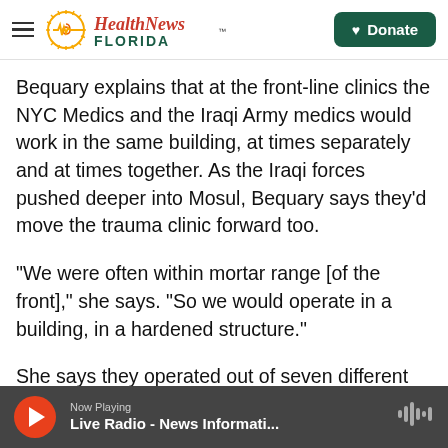Health News Florida | Donate
Bequary explains that at the front-line clinics the NYC Medics and the Iraqi Army medics would work in the same building, at times separately and at times together. As the Iraqi forces pushed deeper into Mosul, Bequary says they'd move the trauma clinic forward too.
"We were often within mortar range [of the front]," she says. "So we would operate in a building, in a hardened structure."
She says they operated out of seven different buildings as the offensive pushed toward West
Now Playing — Live Radio - News Informati...